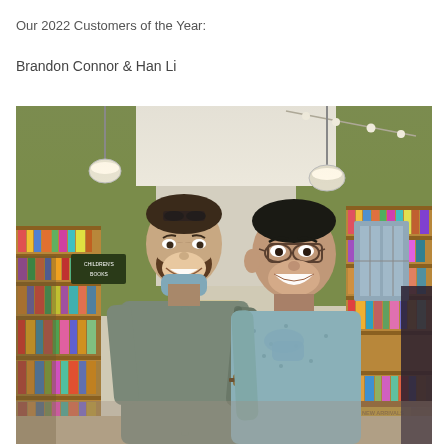Our 2022 Customers of the Year:
Brandon Connor & Han Li
[Figure (photo): Two men smiling in a bookstore with green walls, bookshelves, and pendant lights. The man on the left wears a gray t-shirt with sunglasses on his head and a face mask pulled down. The man on the right wears a light blue button-up shirt and glasses, holding a mask.]